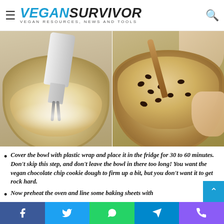VEGANSURVIVOR - VEGAN RESOURCES, NEWS AND TOOLS
[Figure (photo): Two side-by-side photos: left shows a hand mixer beating cookie dough in a glass bowl; right shows cookie dough with chocolate chips being stirred in a glass bowl.]
Cover the bowl with plastic wrap and place it in the fridge for 30 to 60 minutes. Don't skip this step, and don't leave the bowl in there too long! You want the vegan chocolate chip cookie dough to firm up a bit, but you don't want it to get rock hard.
Now preheat the oven and line some baking sheets with
Facebook  Twitter  WhatsApp  Telegram  Phone